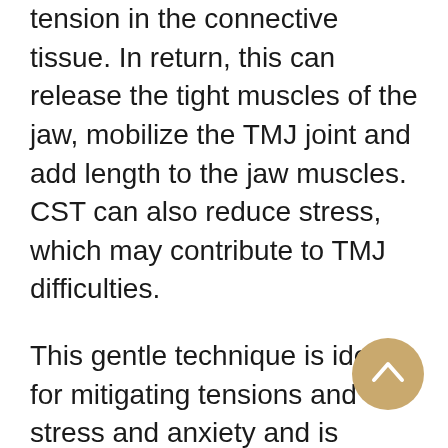tension in the connective tissue. In return, this can release the tight muscles of the jaw, mobilize the TMJ joint and add length to the jaw muscles. CST can also reduce stress, which may contribute to TMJ difficulties.
This gentle technique is ideal for mitigating tensions and stress and anxiety and is considered a great treatment for headaches & migraines as it allows therapists to access the hard-to-access muscles surrounding the jaw and TMJ. CranioSacral therapy can re-align the misalignments of the skull bones including the